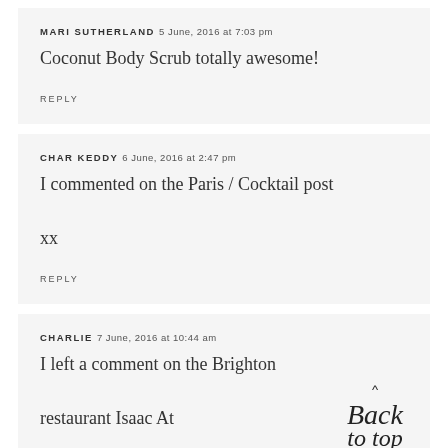MARI SUTHERLAND 5 June, 2016 at 7:03 pm
Coconut Body Scrub totally awesome!
REPLY
CHAR KEDDY 6 June, 2016 at 2:47 pm
I commented on the Paris / Cocktail post xx
REPLY
CHARLIE 7 June, 2016 at 10:44 am
I left a comment on the Brighton restaurant Isaac At
[Figure (illustration): Handwritten cursive 'Back to top' text with a caret symbol above it]